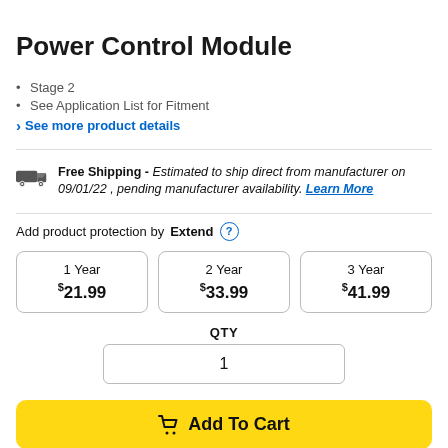Power Control Module
Stage 2
See Application List for Fitment
› See more product details
Free Shipping - Estimated to ship direct from manufacturer on 09/01/22 , pending manufacturer availability. Learn More
Add product protection by Extend
| 1 Year | 2 Year | 3 Year |
| --- | --- | --- |
| $21.99 | $33.99 | $41.99 |
QTY 1
Add To Cart
Add to Wish List